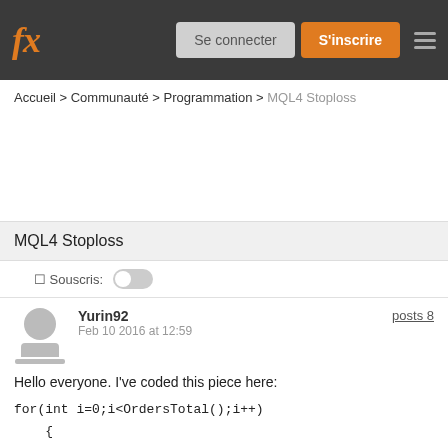fx | Se connecter | S'inscrire
Accueil > Communauté > Programmation > MQL4 Stoploss
MQL4 Stoploss
Souscris:
Yurin92
Feb 10 2016 at 12:59
posts 8
Hello everyone. I've coded this piece here:
for(int i=0;i<OrdersTotal();i++)
    {
     bool select = OrderSelect(i,SELECT_BY_POS,MODE_TRADES);